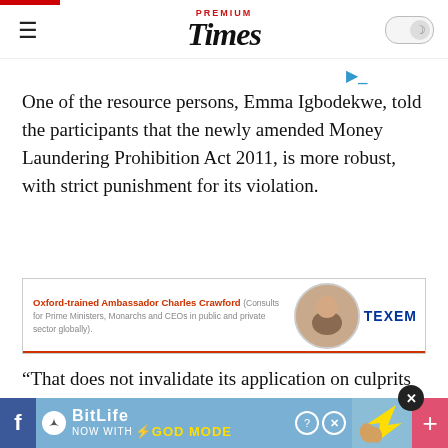PREMIUM Times
One of the resource persons, Emma Igbodekwe, told the participants that the newly amended Money Laundering Prohibition Act 2011, is more robust, with strict punishment for its violation.
[Figure (infographic): Advertisement banner for TEXEM featuring Oxford-trained Ambassador Charles Crawford who consults for Prime Ministers, Monarchs and CEOs in public and private sector globally.]
“That does not invalidate its application on culprits who might have committed the offence long before it was passed into law, because it’s provisions also encompasses all the provisions in the Money Laundering prohibition Act, 2004,” Mr. Igbodekwe
[Figure (infographic): Bottom advertisement banner for BitLife: NOW WITH GOD MODE]